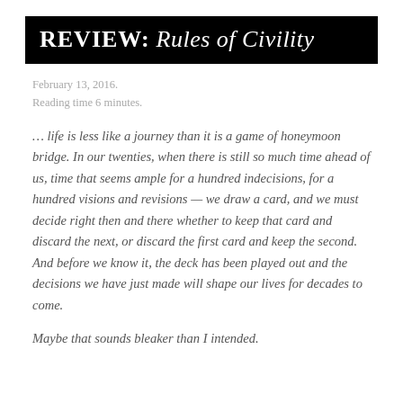REVIEW: Rules of Civility
February 13, 2016.
Reading time 6 minutes.
… life is less like a journey than it is a game of honeymoon bridge. In our twenties, when there is still so much time ahead of us, time that seems ample for a hundred indecisions, for a hundred visions and revisions — we draw a card, and we must decide right then and there whether to keep that card and discard the next, or discard the first card and keep the second. And before we know it, the deck has been played out and the decisions we have just made will shape our lives for decades to come.
Maybe that sounds bleaker than I intended.